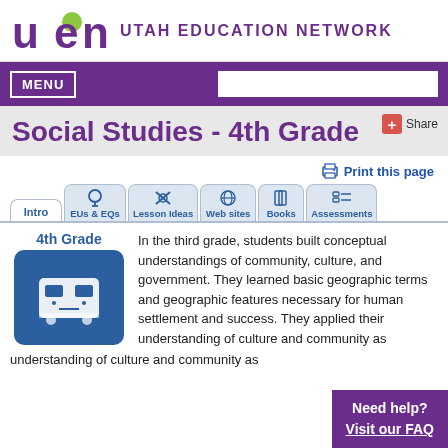[Figure (logo): UEN Utah Education Network logo with purple letters and green dot]
UTAH EDUCATION NETWORK
MENU
Social Studies - 4th Grade
Print this page
[Figure (screenshot): Navigation tabs: Intro, EUs & EQs, Lesson Ideas, Web sites, Books, Assessments]
[Figure (illustration): 4th Grade icon - blue box with train/subway image]
In the third grade, students built conceptual understandings of community, culture, and government. They learned basic geographic terms and geographic features necessary for human settlement and success. They applied their understanding of culture and community as
Need help? Visit our FAQ